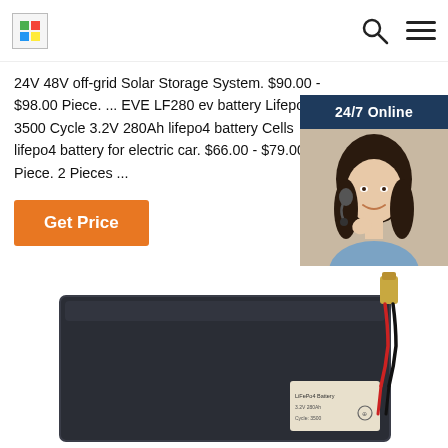[Figure (logo): Small logo image placeholder in top-left header]
[Figure (screenshot): Search icon (magnifying glass) in header]
[Figure (screenshot): Hamburger menu icon in header]
24V 48V off-grid Solar Storage System. $90.00 - $98.00 Piece. ... EVE LF280 ev battery Lifepo4 3500 Cycle 3.2V 280Ah lifepo4 battery Cells lifepo4 battery for electric car. $66.00 - $79.00 Piece. 2 Pieces ...
Get Price
[Figure (infographic): 24/7 Online chat widget: dark blue background, photo of woman with headset, text 'Click here for free chat!', orange QUOTATION button]
[Figure (photo): Product photo of a dark rectangular lithium battery with red and black wire connector at top right, label on bottom right]